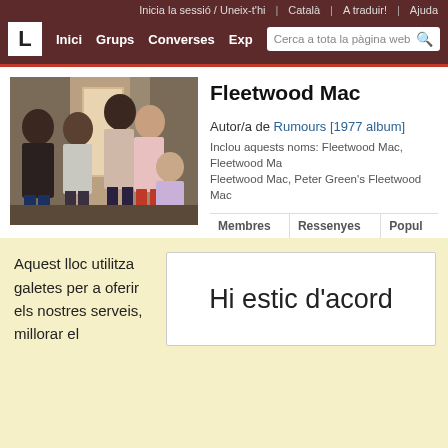Inicia la sessió / Uneix-t'hi | Català | A traduir! | Ajuda
L  Inici  Grups  Converses  Exp  Cerca a tota la pàgina web
[Figure (photo): Photo of Fleetwood Mac band members, 5 people posing outdoors]
Fleetwood Mac
Autor/a de Rumours [1977 album]
Inclou aquests noms: Fleetwood Mac, Fleetwood Mac, Fleetwood Mac, Peter Green's Fleetwood Mac
| Membres | Ressenyes | Popul... |
| --- | --- | --- |
Aquest lloc utilitza galetes per a oferir els nostres serveis, millorar el desenvolupament, per a anàlisis i (si no has iniciat la sessió) per a publicitat. Utilitzant LibraryThing acceptes que has llegit i entès els nostres Termes de servei i política de privacitat. L'ús que facis del lloc i dels seus serveis està subjecte a aquestes politiques i termes.
Hi estic d'acord